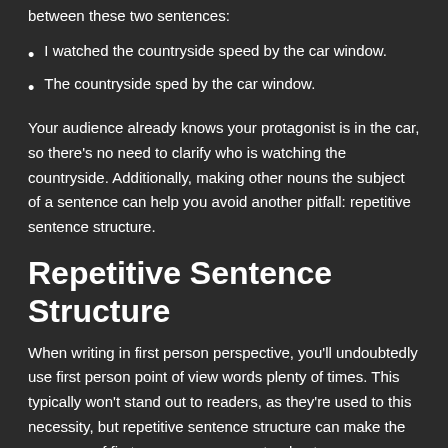between these two sentences:
I watched the countryside speed by the car window.
The countryside sped by the car window.
Your audience already knows your protagonist is in the car, so there’s no need to clarify who is watching the countryside. Additionally, making other nouns the subject of a sentence can help you avoid another pitfall: repetitive sentence structure.
Repetitive Sentence Structure
When writing in first person perspective, you’ll undoubtedly use first person point of view words plenty of times. This typically won't stand out to readers, as they’re used to this necessity, but repetitive sentence structure can make the presence of first person pronouns stand out